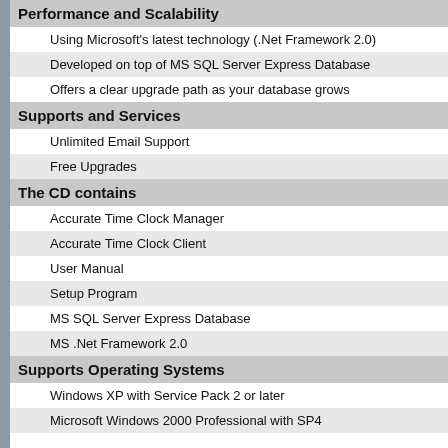Performance and Scalability
Using Microsoft's latest technology (.Net Framework 2.0)
Developed on top of MS SQL Server Express Database
Offers a clear upgrade path as your database grows
Supports and Services
Unlimited Email Support
Free Upgrades
The CD contains
Accurate Time Clock Manager
Accurate Time Clock Client
User Manual
Setup Program
MS SQL Server Express Database
MS .Net Framework 2.0
Supports Operating Systems
Windows XP with Service Pack 2 or later
Microsoft Windows 2000 Professional with SP4